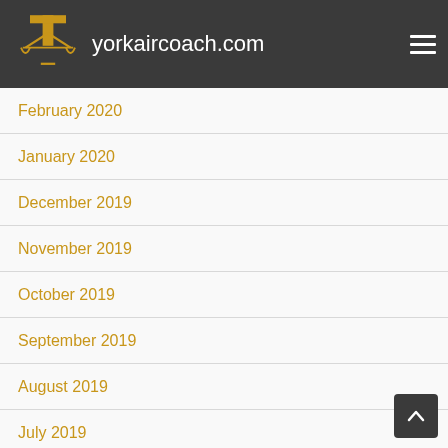yorkaircoach.com
February 2020
January 2020
December 2019
November 2019
October 2019
September 2019
August 2019
July 2019
June 2019
May 2019
April 2019